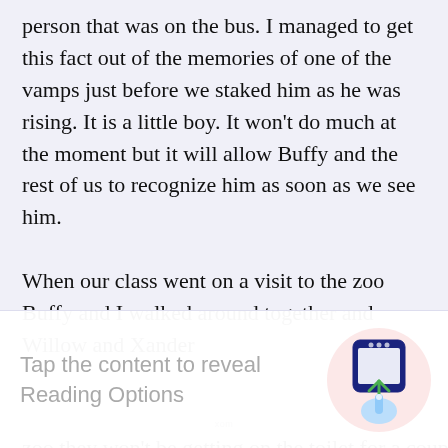person that was on the bus. I managed to get this fact out of the memories of one of the vamps just before we staked him as he was rising. It is a little boy. It won't do much at the moment but it will allow Buffy and the rest of us to recognize him as soon as we see him.

When our class went on a visit to the zoo Buffy and I walked around together and Willow and Xander
[Figure (screenshot): Overlay UI panel with text 'Tap the content to reveal Reading Options' and an illustration of a hand tapping a phone/tablet screen icon on a pink circular background.]
zoo they won't be getting on the toilet for a couple